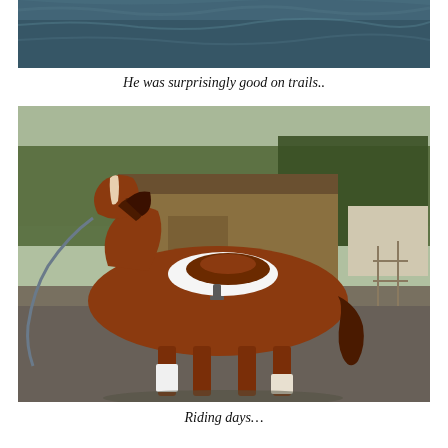[Figure (photo): Partial photo of water/river scene at the top of the page]
He was surprisingly good on trails..
[Figure (photo): A chestnut horse with a white blaze, saddled with a brown English saddle and white saddle pad, standing on a paved driveway with front leg wrapped in white bandage, lead rope attached, farm buildings and trees in background]
Riding days…